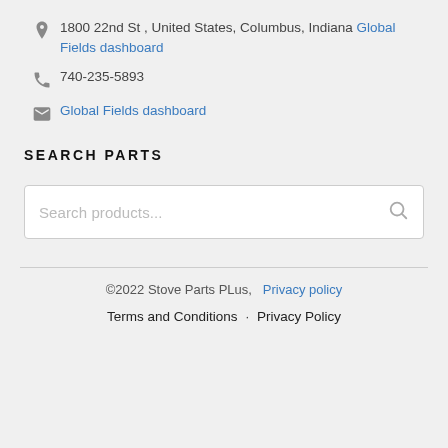1800 22nd St , United States, Columbus, Indiana Global Fields dashboard
740-235-5893
Global Fields dashboard
SEARCH PARTS
Search products...
©2022 Stove Parts PLus,  Privacy policy
Terms and Conditions · Privacy Policy